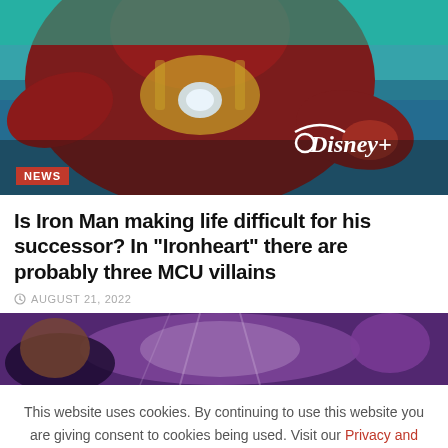[Figure (photo): Iron Man in red armor flying, with Disney+ logo in lower right and NEWS badge in lower left]
Is Iron Man making life difficult for his successor? In “Ironheart” there are probably three MCU villains
AUGUST 21, 2022
[Figure (photo): Purple-toned cinematic image showing characters from Marvel/MCU]
This website uses cookies. By continuing to use this website you are giving consent to cookies being used. Visit our Privacy and Cookie Policy.